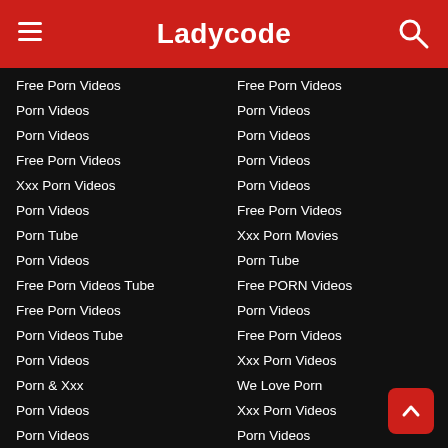Ladycode
Free Porn Videos
Porn Videos
Porn Videos
Free Porn Videos
Xxx Porn Videos
Porn Videos
Porn Tube
Porn Videos
Free Porn Videos Tube
Free Porn Videos
Porn Videos Tube
Porn Videos
Porn & Xxx
Porn Videos
Porn Videos
Free Porn Videos
Free Online Porn Videos
Porn Videos
Porn Videos
Porn Videos
Free Porn Videos
Porn Videos
Porn Videos
Free Porn Videos
Xxx Porn Movies
Porn Tube
Free PORN Videos
Porn Videos
Free Porn Videos
Xxx Porn Videos
We Love Porn
Xxx Porn Videos
Porn Videos
Shemale Porn
Просто Порно Видео
Free Porn Tube
Porn Teens Tube
Porn Videos